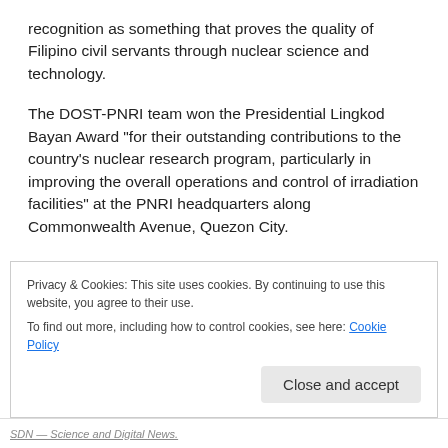recognition as something that proves the quality of Filipino civil servants through nuclear science and technology.
The DOST-PNRI team won the Presidential Lingkod Bayan Award “for their outstanding contributions to the country’s nuclear research program, particularly in improving the overall operations and control of irradiation facilities” at the PNRI headquarters along Commonwealth Avenue, Quezon City.
Being managed by the team are DOST-PNRI’s Cobalt-60 Multipurpose Irradiation Facility established in 1989 and the first of its kind in the country, and the Electron Beam Irradiation Facility opened in 2014.
Privacy & Cookies: This site uses cookies. By continuing to use this website, you agree to their use.
To find out more, including how to control cookies, see here: Cookie Policy
SDN — Science and Digital News.